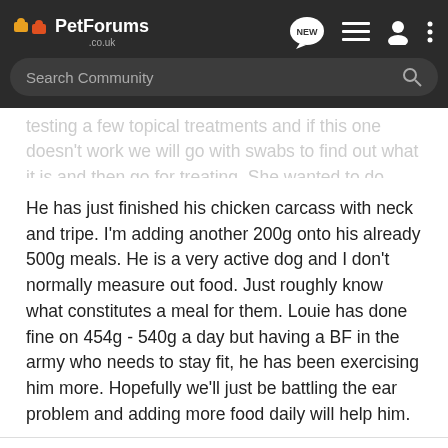PetForums .co.uk
testing a few topical treatments and if this one doesn't work we will go with swabs to find out what it is and then go for treating. She wanted to do bloods today to test cancer and that was what made me think of the infection.
He has just finished his chicken carcass with neck and tripe. I'm adding another 200g onto his already 500g meals. He is a very active dog and I don't normally measure out food. Just roughly know what constitutes a meal for them. Louie has done fine on 454g - 540g a day but having a BF in the army who needs to stay fit, he has been exercising him more. Hopefully we'll just be battling the ear problem and adding more food daily will help him.